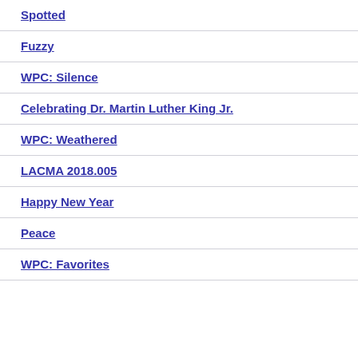Spotted
Fuzzy
WPC: Silence
Celebrating Dr. Martin Luther King Jr.
WPC: Weathered
LACMA 2018.005
Happy New Year
Peace
WPC: Favorites